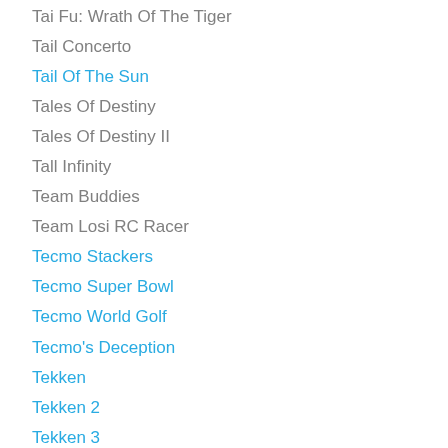Tai Fu: Wrath Of The Tiger
Tail Concerto
Tail Of The Sun
Tales Of Destiny
Tales Of Destiny II
Tall Infinity
Team Buddies
Team Losi RC Racer
Tecmo Stackers
Tecmo Super Bowl
Tecmo World Golf
Tecmo's Deception
Tekken
Tekken 2
Tekken 3
Tempext X3
Ten Pin Alley
Tenchu